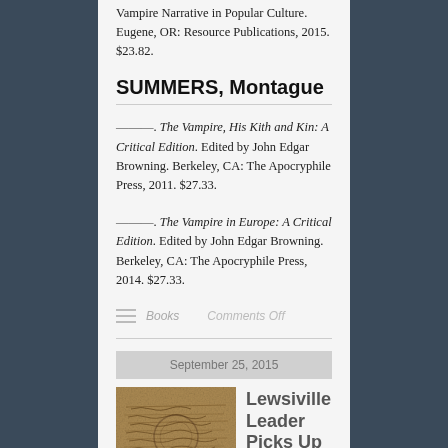Vampire Narrative in Popular Culture. Eugene, OR: Resource Publications, 2015. $23.82.
SUMMERS, Montague
———. The Vampire, His Kith and Kin: A Critical Edition. Edited by John Edgar Browning. Berkeley, CA: The Apocryphile Press, 2011. $27.33.
———. The Vampire in Europe: A Critical Edition. Edited by John Edgar Browning. Berkeley, CA: The Apocryphile Press, 2014. $27.33.
Books   Comments Off
September 25, 2015
[Figure (photo): Sepia-toned photo of an antique handwritten manuscript or journal with cursive text]
Lewsiville Leader Picks Up the St…